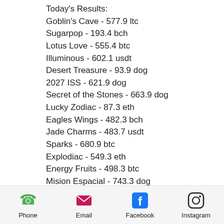Today's Results:
Goblin's Cave - 577.9 ltc
Sugarpop - 193.4 bch
Lotus Love - 555.4 btc
Illuminous - 602.1 usdt
Desert Treasure - 93.9 dog
2027 ISS - 621.9 dog
Secret of the Stones - 663.9 dog
Lucky Zodiac - 87.3 eth
Eagles Wings - 482.3 bch
Jade Charms - 483.7 usdt
Sparks - 680.9 btc
Explodiac - 549.3 eth
Energy Fruits - 498.3 btc
Mision Espacial - 743.3 dog
Purple Hot 2 - 61.4 dog
Best Slots Games:
Phone | Email | Facebook | Instagram